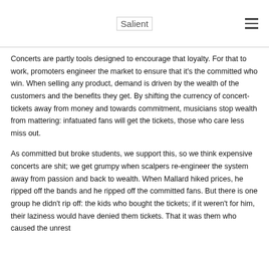Salient
Concerts are partly tools designed to encourage that loyalty. For that to work, promoters engineer the market to ensure that it's the committed who win. When selling any product, demand is driven by the wealth of the customers and the benefits they get. By shifting the currency of concert-tickets away from money and towards commitment, musicians stop wealth from mattering: infatuated fans will get the tickets, those who care less miss out.
As committed but broke students, we support this, so we think expensive concerts are shit; we get grumpy when scalpers re-engineer the system away from passion and back to wealth. When Mallard hiked prices, he ripped off the bands and he ripped off the committed fans. But there is one group he didn't rip off: the kids who bought the tickets; if it weren't for him, their laziness would have denied them tickets. That it was them who caused the unrest